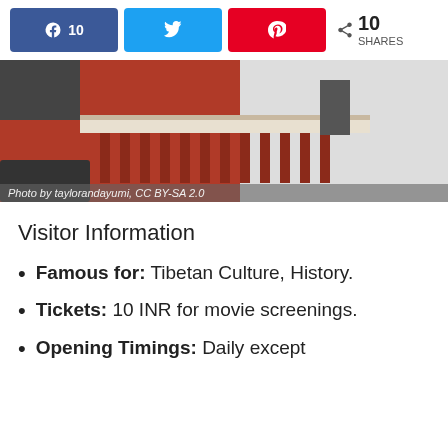[Figure (other): Social share bar with Facebook (10), Twitter, and Pinterest buttons plus a share count of 10 SHARES]
[Figure (photo): Photo of a building with Tibetan architectural features, brick wall and white wall visible. Caption reads: Photo by taylorandayumi, CC BY-SA 2.0]
Visitor Information
Famous for: Tibetan Culture, History.
Tickets: 10 INR for movie screenings.
Opening Timings: Daily except